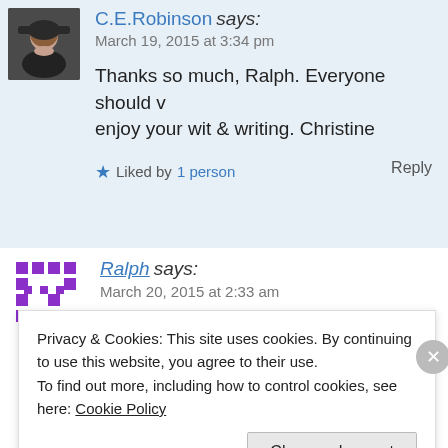[Figure (photo): Avatar photo of C.E.Robinson, a woman with dark hair]
C.E.Robinson says:
March 19, 2015 at 3:34 pm

Thanks so much, Ralph. Everyone should v… enjoy your wit & writing. Christine
★ Liked by 1 person
Reply
[Figure (illustration): Pixelated purple avatar icon for Ralph]
Ralph says:
March 20, 2015 at 2:33 am
Wow ! Thanks Christine ! 😀
Privacy & Cookies: This site uses cookies. By continuing to use this website, you agree to their use.
To find out more, including how to control cookies, see here: Cookie Policy
Close and accept